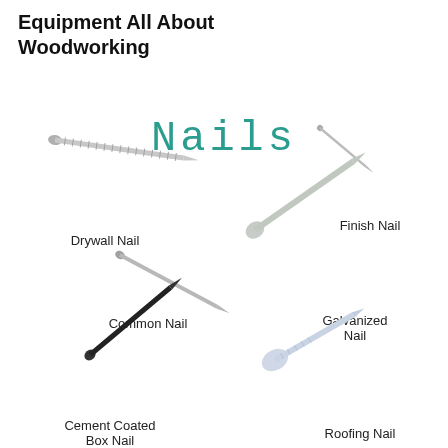Equipment All About Woodworking
[Figure (illustration): Infographic showing six types of nails used in woodworking: Drywall Nail (long spiral/threaded nail, horizontal), Finish Nail (thin short nail, diagonal upper right), Common Nail (medium smooth nail, diagonal), Galvanized Nail (large-headed nail, diagonal lower right), Cement Coated Box Nail (black nail, diagonal lower left), Roofing Nail (wide flat-headed nail, diagonal lower right). The word 'Nails' in teal/cyan monospace font is centered at the top of the illustration area.]